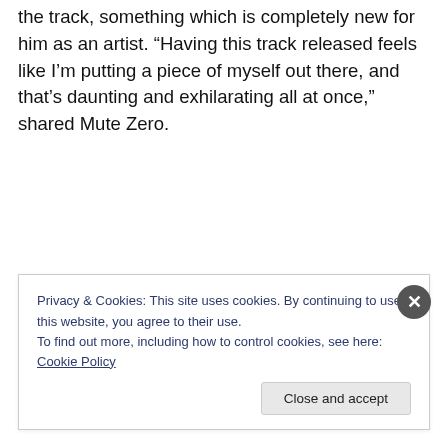the track, something which is completely new for him as an artist. “Having this track released feels like I’m putting a piece of myself out there, and that’s daunting and exhilarating all at once,” shared Mute Zero.
Privacy & Cookies: This site uses cookies. By continuing to use this website, you agree to their use. To find out more, including how to control cookies, see here: Cookie Policy